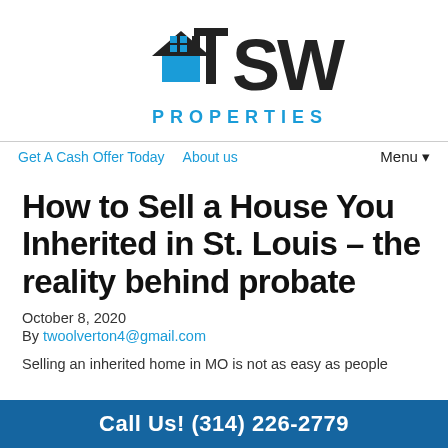[Figure (logo): TSW Properties logo with house icon in blue and black letters SW, with PROPERTIES in blue below]
Get A Cash Offer Today   About us   Menu▾
How to Sell a House You Inherited in St. Louis – the reality behind probate
October 8, 2020
By twoolverton4@gmail.com
Selling an inherited home in MO is not as easy as people
Call Us! (314) 226-2779